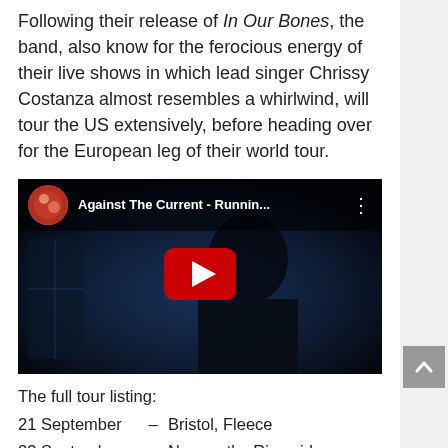Following their release of In Our Bones, the band, also know for the ferocious energy of their live shows in which lead singer Chrissy Costanza almost resembles a whirlwind, will tour the US extensively, before heading over for the European leg of their world tour.
[Figure (screenshot): YouTube video embed showing Against The Current - Runnin... with a dark atmospheric thumbnail of a woman and a red YouTube play button in the center.]
The full tour listing:
21 September  –  Bristol, Fleece
23 September  –  Newcastle, Riverside
30 September  –  London, O2 Shepherds Bush Empire